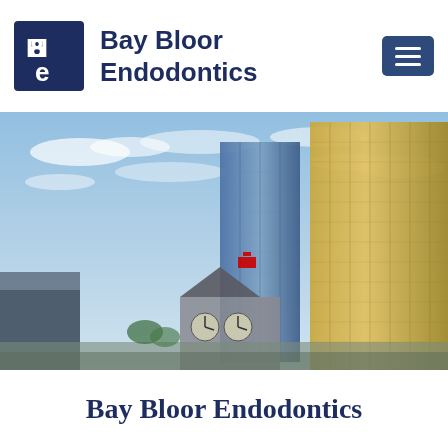[Figure (logo): Bay Bloor Endodontics logo — dark navy square with stylized BBe letters in white, followed by text 'Bay Bloor Endodontics' and a hamburger menu button]
[Figure (photo): Urban cityscape photo showing tall glass skyscrapers and a historic clock tower building in Toronto under a blue cloudy sky]
Bay Bloor Endodontics